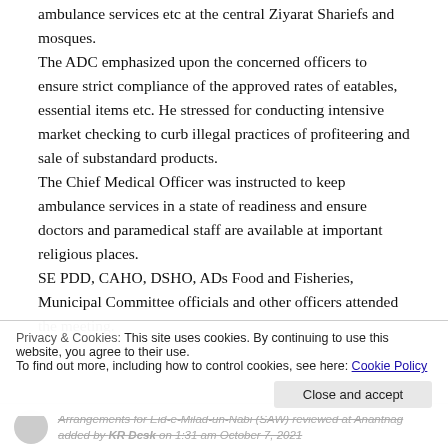ambulance services etc at the central Ziyarat Shariefs and mosques.
The ADC emphasized upon the concerned officers to ensure strict compliance of the approved rates of eatables, essential items etc. He stressed for conducting intensive market checking to curb illegal practices of profiteering and sale of substandard products.
The Chief Medical Officer was instructed to keep ambulance services in a state of readiness and ensure doctors and paramedical staff are available at important religious places.
SE PDD, CAHO, DSHO, ADs Food and Fisheries, Municipal Committee officials and other officers attended the meeting.
Privacy & Cookies: This site uses cookies. By continuing to use this website, you agree to their use. To find out more, including how to control cookies, see here: Cookie Policy
Arrangements for Eid-e-Milad-un-Nabi (SAW) reviewed at Anantnag added by KR Desk on 1:31 am October 7, 2021